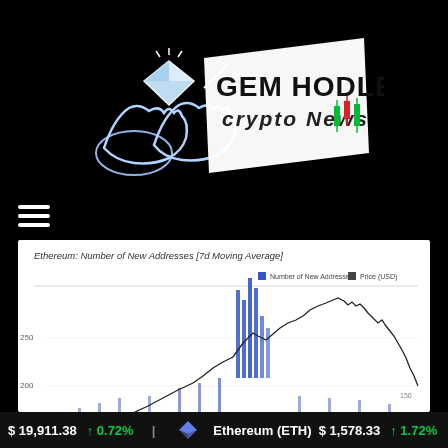[Figure (logo): GEM HODLERS Crypto News logo with hands holding a diamond and trading chart icons]
[Figure (other): Hamburger/menu icon (three horizontal white lines)]
[Figure (continuous-plot): Ethereum: Number of New Addresses [7d Moving Average] chart showing blue bar series for Number of New Addresses and black line for Price (USD). Y-axis shows values around 200 and 250. Chart covers historical period with peaks visible in middle section.]
$ 19,911.38 ↑ 0.72%   Ethereum (ETH) $ 1,578.33 ↑ 1.72%  T